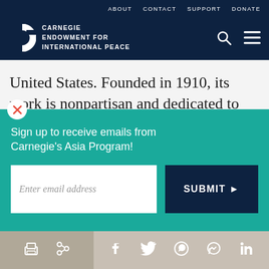ABOUT   CONTACT   SUPPORT   DONATE
CARNEGIE ENDOWMENT FOR INTERNATIONAL PEACE
United States. Founded in 1910, its work is nonpartisan and dedicated to achieving practical
[Figure (screenshot): Email signup popup with teal background. Title: 'Sign up to receive emails from Carnegie's Asia Program!' with an email input field and a dark blue SUBMIT button with arrow.]
[Figure (logo): Carnegie Endowment C logo icon in dark navy square]
Social sharing bar with print, link, Facebook, Twitter, WhatsApp, Messenger, LinkedIn icons